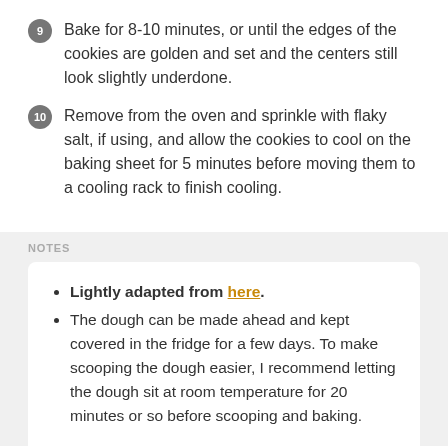9 Bake for 8-10 minutes, or until the edges of the cookies are golden and set and the centers still look slightly underdone.
10 Remove from the oven and sprinkle with flaky salt, if using, and allow the cookies to cool on the baking sheet for 5 minutes before moving them to a cooling rack to finish cooling.
NOTES
Lightly adapted from here.
The dough can be made ahead and kept covered in the fridge for a few days. To make scooping the dough easier, I recommend letting the dough sit at room temperature for 20 minutes or so before scooping and baking.